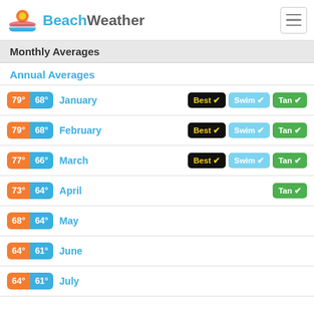BeachWeather
Monthly Averages
Annual Averages
79° 68° January — Best ✓ Swim ✓ Tan ✓
79° 68° February — Best ✓ Swim ✓ Tan ✓
77° 66° March — Best ✓ Swim ✓ Tan ✓
73° 64° April — Tan ✓
68° 64° May
64° 61° June
64° 61° July